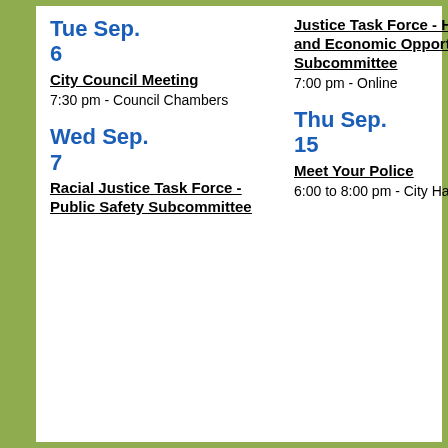Tue Sep. 6
City Council Meeting
7:30 pm - Council Chambers
Wed Sep. 7
Racial Justice Task Force - Public Safety Subcommittee
Justice Task Force - Housing and Economic Opportunity Subcommittee
7:00 pm - Online
Thu Sep. 15
Meet Your Police
6:00 to 8:00 pm - City Hall Lower